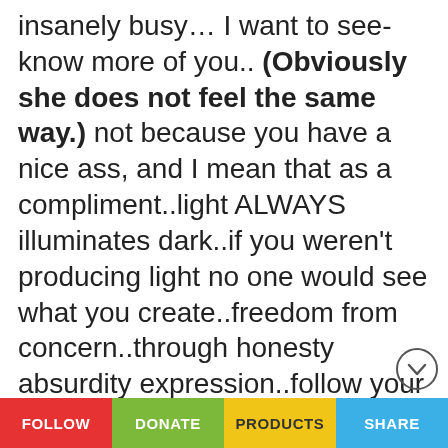insanely busy… I want to see-know more of you.. (Obviously she does not feel the same way.) not because you have a nice ass, and I mean that as a compliment..light ALWAYS illuminates dark..if you weren't producing light no one would see what you create..freedom from concern..through honesty absurdity expression..follow your dreams with extreme